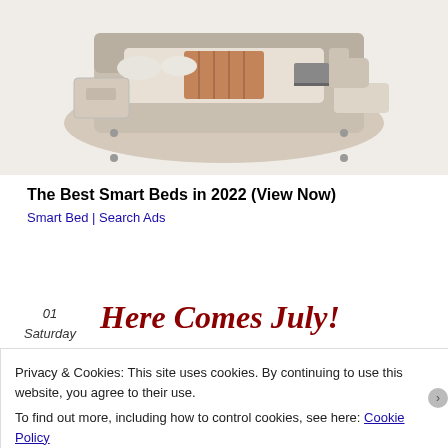[Figure (photo): Product photo of a luxury smart bed with cream leather upholstery, pull-out storage drawers, massage chair attachments, and various built-in features, shown in isometric view against white background.]
The Best Smart Beds in 2022 (View Now)
Smart Bed | Search Ads
01
Saturday
Jul 2017
Here Comes July!
Privacy & Cookies: This site uses cookies. By continuing to use this website, you agree to their use.
To find out more, including how to control cookies, see here: Cookie Policy
Close and accept